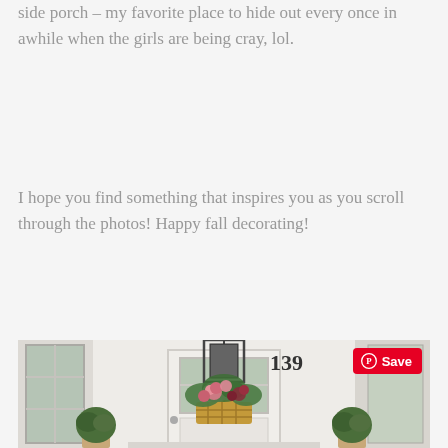side porch – my favorite place to hide out every once in awhile when the girls are being cray, lol.
I hope you find something that inspires you as you scroll through the photos! Happy fall decorating!
[Figure (photo): A white front door with a woven basket filled with fall flowers (pink roses, greenery, burgundy blooms) hanging on it. A black lantern light fixture hangs above showing house number 139. Two small round topiary bushes flank the entrance steps. A Pinterest 'Save' button overlay appears in the top right corner.]